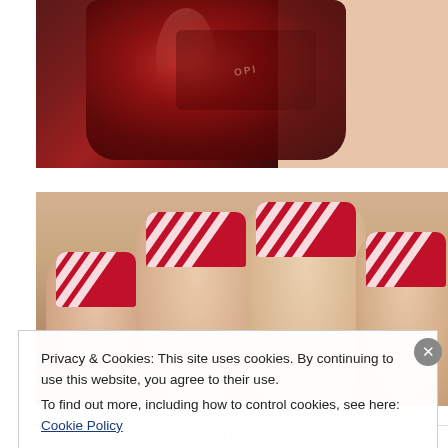[Figure (photo): Close-up photo of a dark deep-red/burgundy glittery OPI nail polish bottle held in someone's fingers against a light skin background]
[Figure (photo): Close-up photo of a hand showing fingernails painted with dark red/burgundy and white candy-cane diagonal stripe nail art pattern]
Privacy & Cookies: This site uses cookies. By continuing to use this website, you agree to their use.
To find out more, including how to control cookies, see here: Cookie Policy
Close and accept